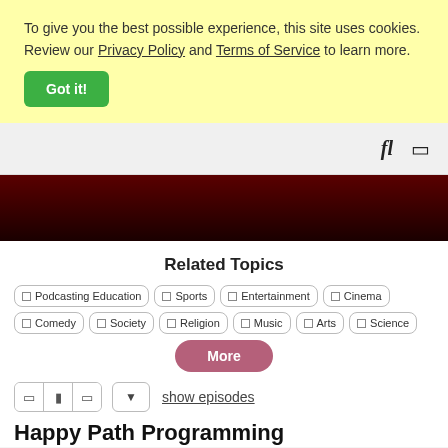To give you the best possible experience, this site uses cookies. Review our Privacy Policy and Terms of Service to learn more.
Got it!
[Figure (other): Navigation bar with search and bookmark icons on right side]
[Figure (other): Dark red/maroon gradient hero band]
Related Topics
Podcasting Education
Sports
Entertainment
Cinema
Comedy
Society
Religion
Music
Arts
Science
More
show episodes
Happy Path Programming